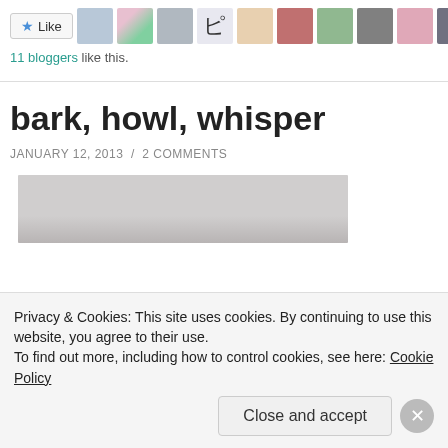[Figure (screenshot): Like button with star icon and row of blogger avatar thumbnails]
11 bloggers like this.
bark, howl, whisper
JANUARY 12, 2013 / 2 COMMENTS
[Figure (photo): Partial photo of textured white/gray fabric or paper surface]
Privacy & Cookies: This site uses cookies. By continuing to use this website, you agree to their use.
To find out more, including how to control cookies, see here: Cookie Policy
Close and accept